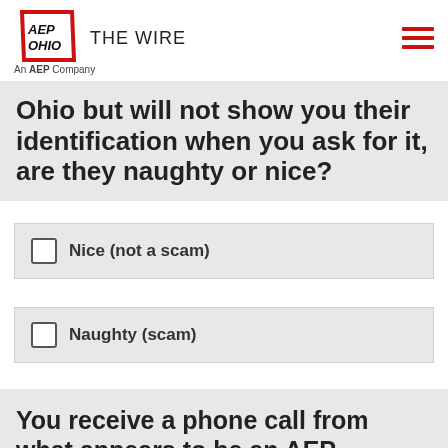AEP OHIO THE WIRE — An AEP Company
Ohio but will not show you their identification when you ask for it, are they naughty or nice?
Nice (not a scam)
Naughty (scam)
You receive a phone call from what appears to be an AEP